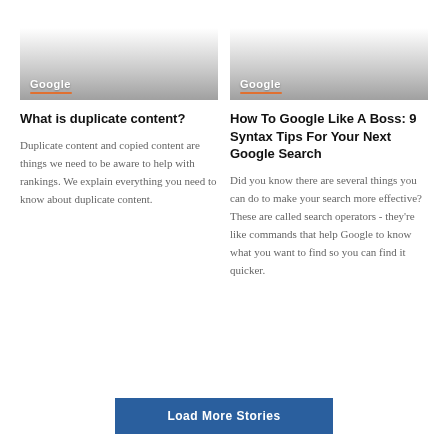[Figure (illustration): Card image with gradient background and 'Google' label with orange underline - left card]
What is duplicate content?
Duplicate content and copied content are things we need to be aware to help with rankings. We explain everything you need to know about duplicate content.
[Figure (illustration): Card image with gradient background and 'Google' label with orange underline - right card]
How To Google Like A Boss: 9 Syntax Tips For Your Next Google Search
Did you know there are several things you can do to make your search more effective? These are called search operators - they're like commands that help Google to know what you want to find so you can find it quicker.
Load More Stories